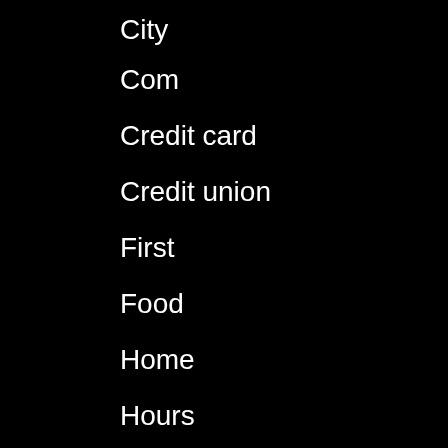City
Com
Credit card
Credit union
First
Food
Home
Hours
How